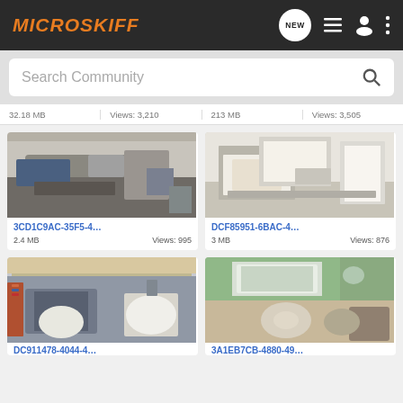MICROSKIFF
Search Community
32.18 MB   Views: 3,210   213 MB   Views: 3,505
[Figure (photo): Garage interior showing a boat and workshop equipment]
3CD1C9AC-35F5-4…
2.4 MB   Views: 995
[Figure (photo): Garage workshop interior with workbench and tools]
DCF85951-6BAC-4…
3 MB   Views: 876
[Figure (photo): Boat interior showing battery and electrical components]
[Figure (photo): Outdoor scene with pickup truck and boat deck]